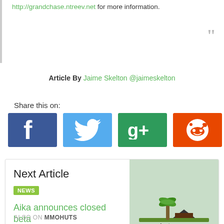http://grandchase.ntreev.net for more information.
Article By Jaime Skelton @jaimeskelton
Share this on:
[Figure (infographic): Four social share buttons: Facebook (blue), Twitter (light blue), Google+ (green), Reddit (orange)]
Next Article
NEWS
Aika announces closed beta
[Figure (logo): MMOHuts logo with palm tree and house graphic on a light green/gray textured background]
ALSO ON MMOHUTS